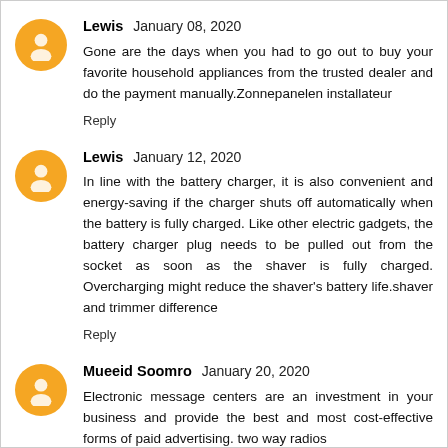Lewis  January 08, 2020
Gone are the days when you had to go out to buy your favorite household appliances from the trusted dealer and do the payment manually.Zonnepanelen installateur
Reply
Lewis  January 12, 2020
In line with the battery charger, it is also convenient and energy-saving if the charger shuts off automatically when the battery is fully charged. Like other electric gadgets, the battery charger plug needs to be pulled out from the socket as soon as the shaver is fully charged. Overcharging might reduce the shaver's battery life.shaver and trimmer difference
Reply
Mueeid Soomro  January 20, 2020
Electronic message centers are an investment in your business and provide the best and most cost-effective forms of paid advertising. two way radios